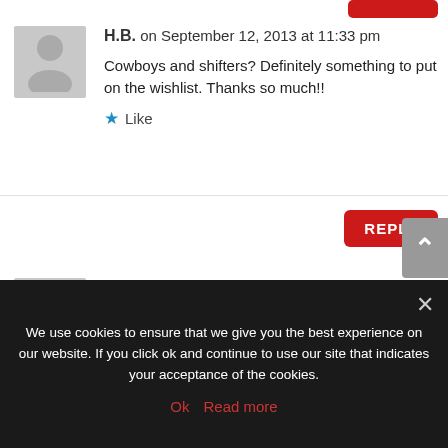H.B. on September 12, 2013 at 11:33 pm
Cowboys and shifters? Definitely something to put on the wishlist. Thanks so much!!
Like
REPLY
Silvia Violet on September 13, 2013 at 6:43 am
Thanks to everyone who has stopped by!
Like
We use cookies to ensure that we give you the best experience on our website. If you click ok and continue to use our site that indicates your acceptance of the cookies.
Ok   Read more